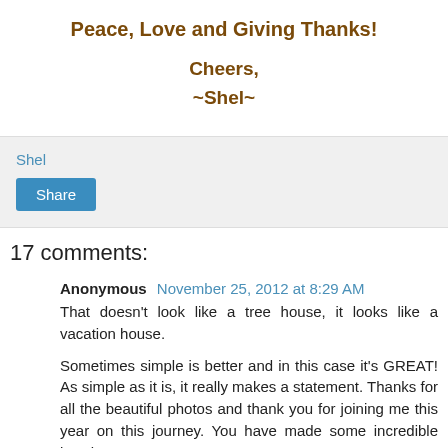Peace, Love and Giving Thanks!
Cheers,
~Shel~
Shel
Share
17 comments:
Anonymous November 25, 2012 at 8:29 AM
That doesn't look like a tree house, it looks like a vacation house.
Sometimes simple is better and in this case it's GREAT! As simple as it is, it really makes a statement. Thanks for all the beautiful photos and thank you for joining me this year on this journey. You have made some incredible jewelry.